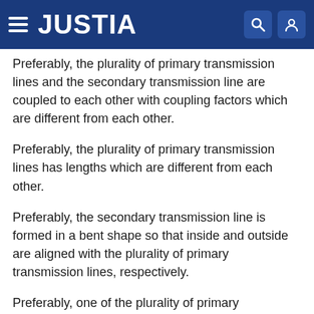JUSTIA
Preferably, the plurality of primary transmission lines and the secondary transmission line are coupled to each other with coupling factors which are different from each other.
Preferably, the plurality of primary transmission lines has lengths which are different from each other.
Preferably, the secondary transmission line is formed in a bent shape so that inside and outside are aligned with the plurality of primary transmission lines, respectively.
Preferably, one of the plurality of primary transmission lines is formed as a bent shape.
The transmission line transformer according to the present invention can improve efficiency and a dynamic